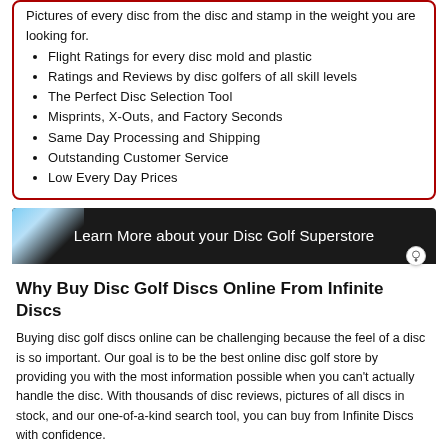Flight Ratings for every disc mold and plastic
Ratings and Reviews by disc golfers of all skill levels
The Perfect Disc Selection Tool
Misprints, X-Outs, and Factory Seconds
Same Day Processing and Shipping
Outstanding Customer Service
Low Every Day Prices
Learn More about your Disc Golf Superstore
Why Buy Disc Golf Discs Online From Infinite Discs
Buying disc golf discs online can be challenging because the feel of a disc is so important. Our goal is to be the best online disc golf store by providing you with the most information possible when you can't actually handle the disc. With thousands of disc reviews, pictures of all discs in stock, and our one-of-a-kind search tool, you can buy from Infinite Discs with confidence.
We have the largest selection of Frisbee golf discs from all major manufacturers, in every type of plastic. As an online disc golf retailer our website will provide you with the information you need to find the best discs at affordable prices. We want to help you find and